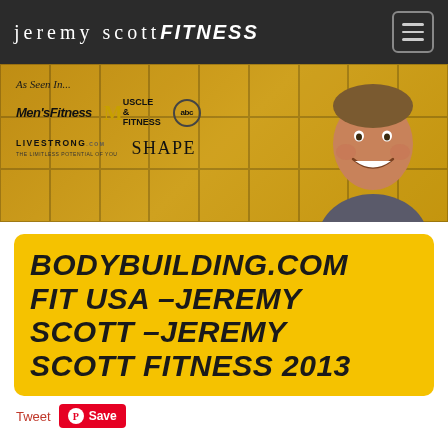jeremy scott FITNESS
[Figure (photo): Jeremy Scott Fitness website banner showing 'As Seen In...' with logos: Men's Fitness, Muscle & Fitness, abc, LIVESTRONG.COM THE LIMITLESS POTENTIAL OF YOU, SHAPE. A smiling man on the right side. Background has a collage of fitness photos on yellow/gold background.]
BODYBUILDING.COM FIT USA –JEREMY SCOTT –JEREMY SCOTT FITNESS 2013
Tweet Save